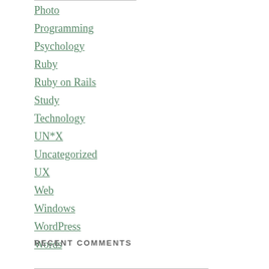Photo
Programming
Psychology
Ruby
Ruby on Rails
Study
Technology
UN*X
Uncategorized
UX
Web
Windows
WordPress
Words
RECENT COMMENTS